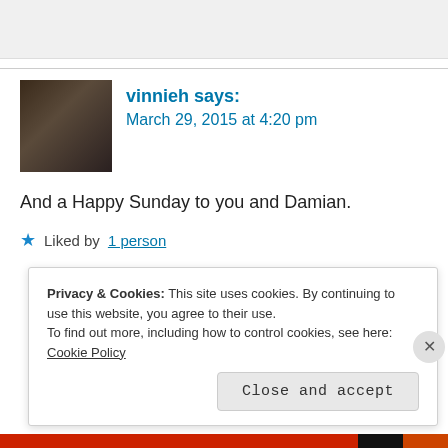[Figure (photo): Top gray bar remnant from previous content area]
vinnieh says:
March 29, 2015 at 4:20 pm
[Figure (photo): Avatar photo of vinnieh - dark toned portrait]
And a Happy Sunday to you and Damian.
★ Liked by 1 person
theipc says:
[Figure (photo): The IPC logo - dark background with orange flame and THE IPC text]
Privacy & Cookies: This site uses cookies. By continuing to use this website, you agree to their use.
To find out more, including how to control cookies, see here: Cookie Policy
Close and accept